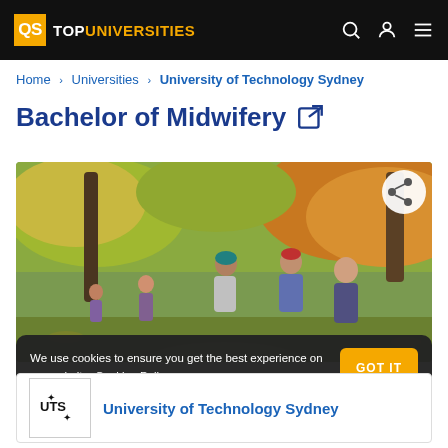QS TOP UNIVERSITIES
Home > Universities > University of Technology Sydney
Bachelor of Midwifery
[Figure (photo): Students walking outdoors under autumn trees on a university campus]
We use cookies to ensure you get the best experience on our website. Cookies Policy GOT IT
University of Technology Sydney